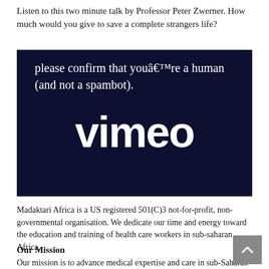Listen to this two minute talk by Professor Peter Zwerner. How much would you give to save a complete strangers life?
[Figure (screenshot): Vimeo video embed showing a CAPTCHA/human verification message reading 'please confirm that youâ€™re a human (and not a spambot).' with the Vimeo logo in white on a dark navy background.]
Madaktari Africa is a US registered 501(C)3 not-for-profit, non-governmental organisation. We dedicate our time and energy toward the education and training of health care workers in sub-saharan Africa.
Our Mission
Our mission is to advance medical expertise and care in sub-Saharan Africa through the strategic deployment of knowledge,